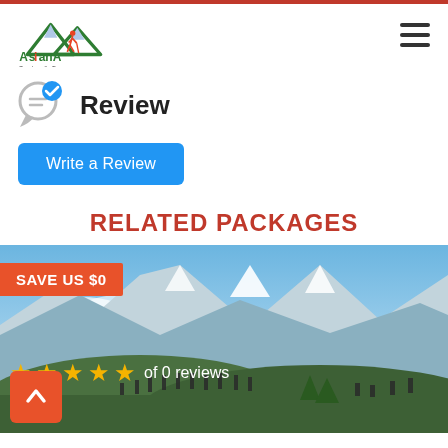[Figure (logo): Asiana Treks & Tours logo with mountain peaks and hiker icon]
Review
Write a Review
RELATED PACKAGES
[Figure (photo): Mountain panorama with hikers on a ridge, snow-capped peaks in background, blue sky with clouds. Overlays: orange 'SAVE US $0' badge, 5 gold stars with 'of 0 reviews', orange scroll-up button.]